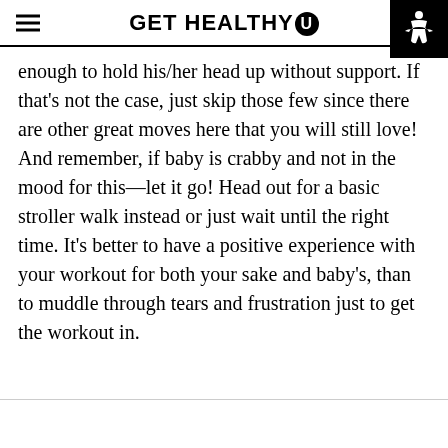GET HEALTHY U
enough to hold his/her head up without support. If that’s not the case, just skip those few since there are other great moves here that you will still love! And remember, if baby is crabby and not in the mood for this—let it go! Head out for a basic stroller walk instead or just wait until the right time. It’s better to have a positive experience with your workout for both your sake and baby’s, than to muddle through tears and frustration just to get the workout in.